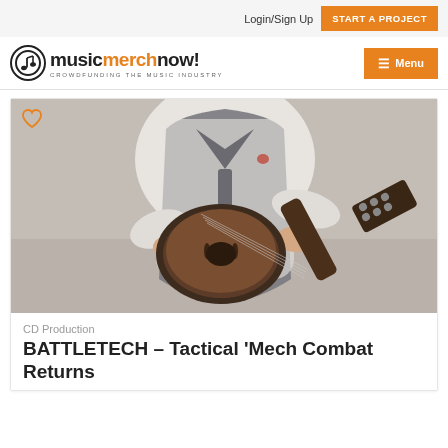Login/Sign Up  START A PROJECT
[Figure (logo): MusicMerchNow! logo with circular music note icon and tagline CROWDFUNDING THE MUSIC INDUSTRY]
[Figure (photo): Person wearing a grey vest and white shirt playing a mandolin, photographed from the torso down, outdoors with blurred background. A heart/favorite icon is overlaid in the top left corner.]
CD Production
BATTLETECH – Tactical 'Mech Combat Returns